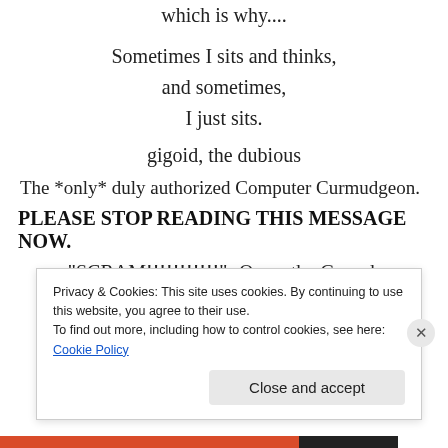which is why....
Sometimes I sits and thinks,
and sometimes,
I just sits.
gigoid, the dubious
The *only* duly authorized Computer Curmudgeon.
PLEASE STOP READING THIS MESSAGE NOW.
“SCRAM!!!!!!!!!!!”- Oscar the Grouch
Privacy & Cookies: This site uses cookies. By continuing to use this website, you agree to their use.
To find out more, including how to control cookies, see here: Cookie Policy
Close and accept